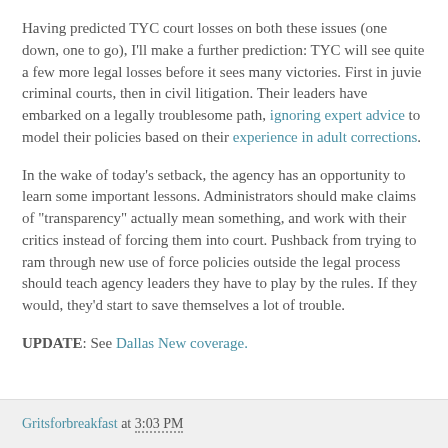Having predicted TYC court losses on both these issues (one down, one to go), I'll make a further prediction: TYC will see quite a few more legal losses before it sees many victories. First in juvie criminal courts, then in civil litigation. Their leaders have embarked on a legally troublesome path, ignoring expert advice to model their policies based on their experience in adult corrections.
In the wake of today's setback, the agency has an opportunity to learn some important lessons. Administrators should make claims of "transparency" actually mean something, and work with their critics instead of forcing them into court. Pushback from trying to ram through new use of force policies outside the legal process should teach agency leaders they have to play by the rules. If they would, they'd start to save themselves a lot of trouble.
UPDATE: See Dallas New coverage.
Gritsforbreakfast at 3:03 PM